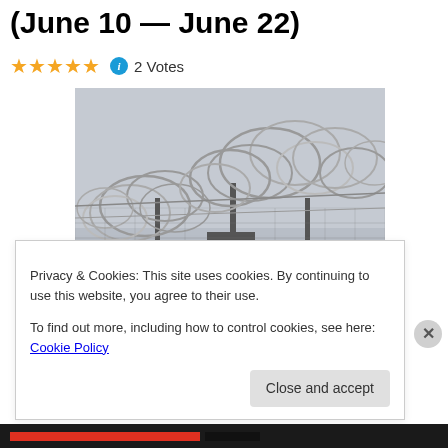(June 10 — June 22)
★★★★★ ℹ 2 Votes
[Figure (photo): A prison watchtower surrounded by coils of razor wire on top of chain-link fencing, under an overcast sky.]
Privacy & Cookies: This site uses cookies. By continuing to use this website, you agree to their use.
To find out more, including how to control cookies, see here: Cookie Policy
Close and accept